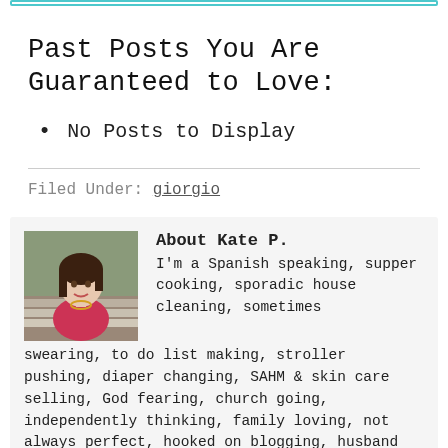Past Posts You Are Guaranteed to Love:
No Posts to Display
Filed Under: giorgio
About Kate P.
I'm a Spanish speaking, supper cooking, sporadic house cleaning, sometimes swearing, to do list making, stroller pushing, diaper changing, SAHM & skin care selling, God fearing, church going, independently thinking, family loving, not always perfect, hooked on blogging, husband